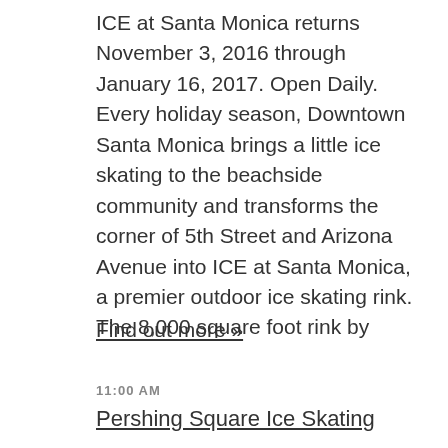ICE at Santa Monica returns November 3, 2016 through January 16, 2017. Open Daily. Every holiday season, Downtown Santa Monica brings a little ice skating to the beachside community and transforms the corner of 5th Street and Arizona Avenue into ICE at Santa Monica, a premier outdoor ice skating rink. The 8,000 square foot rink by
Find out more »
11:00 AM
Pershing Square Ice Skating